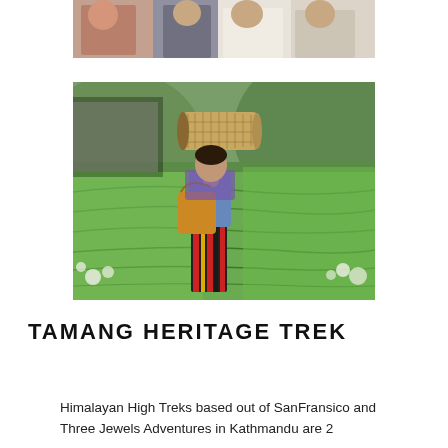[Figure (photo): Partial photo at top of page showing multiple people standing together, cropped to show only the lower portion of figures.]
[Figure (photo): Woman carrying a large woven bamboo roll on her head, walking through lush green rice terraces. She wears a striped skirt and carries a yellow/orange bag.]
TAMANG HERITAGE TREK
Himalayan High Treks based out of SanFransico and Three Jewels Adventures in Kathmandu are 2